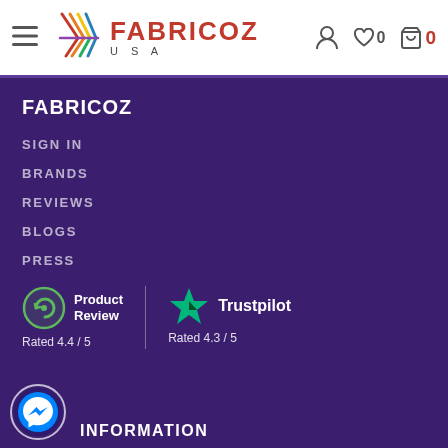FABRICOZ USA — navigation header with hamburger menu, logo, user icon, heart (0), cart (0)
FABRICOZ
SIGN IN
BRANDS
REVIEWS
BLOGS
PRESS
[Figure (infographic): Product Review icon with green circular chat bubble logo and text 'Product Review', rated 4.4/5]
[Figure (infographic): Trustpilot green star icon with text 'Trustpilot', rated 4.3/5]
INFORMATION
[Figure (logo): Facebook Messenger chat bubble icon in blue circle]